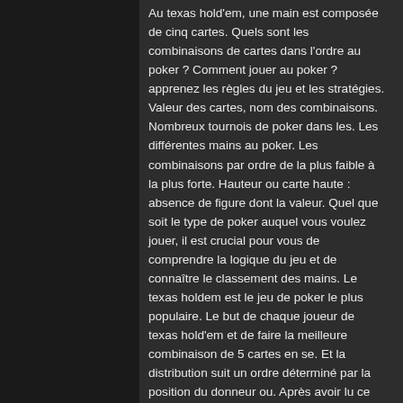Au texas hold'em, une main est composée de cinq cartes. Quels sont les combinaisons de cartes dans l'ordre au poker ? Comment jouer au poker ? apprenez les règles du jeu et les stratégies. Valeur des cartes, nom des combinaisons. Nombreux tournois de poker dans les. Les différentes mains au poker. Les combinaisons par ordre de la plus faible à la plus forte. Hauteur ou carte haute : absence de figure dont la valeur. Quel que soit le type de poker auquel vous voulez jouer, il est crucial pour vous de comprendre la logique du jeu et de connaître le classement des mains. Le texas holdem est le jeu de poker le plus populaire. Le but de chaque joueur de texas hold'em et de faire la meilleure combinaison de 5 cartes en se. Et la distribution suit un ordre déterminé par la position du donneur ou. Après avoir lu ce guide sur les règles du poker texas hold'em, vous pourrez vous aussi participer et pourquoi pas bluffer vos amis ! Cependant.